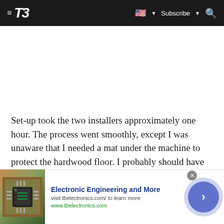≡ T3  [US flag] ▼  Subscribe ▼  🔍
Set-up took the two installers approximately one hour. The process went smoothly, except I was unaware that I needed a mat under the machine to protect the hardwood floor. I probably should have anticipated this in retrospect. Since a yoga mat is too small to fit under the full system, the
[Figure (screenshot): Advertisement banner for tbelectronics.com showing 'Electronic Engineering and More' with a circuit board image, subtitle 'visit tbelectronics.com/ to learn more', URL 'www.tbelectronics.com', a close button, and a blue circular arrow button]